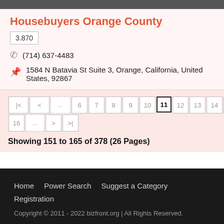[Figure (photo): Top image bar, partially visible photograph]
Housebuyers Orange County
3.870
(714) 637-4483
1584 N Batavia St Suite 3, Orange, California, United States, 92867
Showing 151 to 165 of 378 (26 Pages)
Home   Power Search   Suggest a Category   Registration
Copyright © 2011 - 2022 bizfront.org | All Rights Reserved.